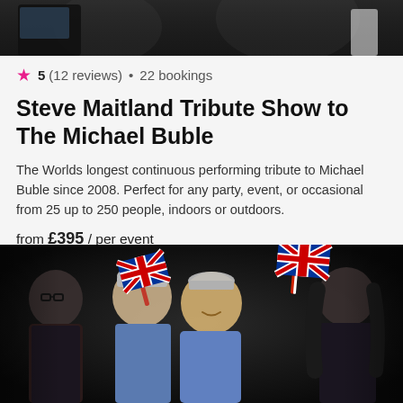[Figure (photo): Top portion of a performance photo, dark background showing performers on stage]
★ 5 (12 reviews) • 22 bookings
Steve Maitland Tribute Show to The Michael Buble
The Worlds longest continuous performing tribute to Michael Buble since 2008. Perfect for any party, event, or occasional from 25 up to 250 people, indoors or outdoors.
from £395 / per event
[Figure (photo): Group of four performers waving Union Jack flags against a dark background, wearing sparkly/sequin outfits]